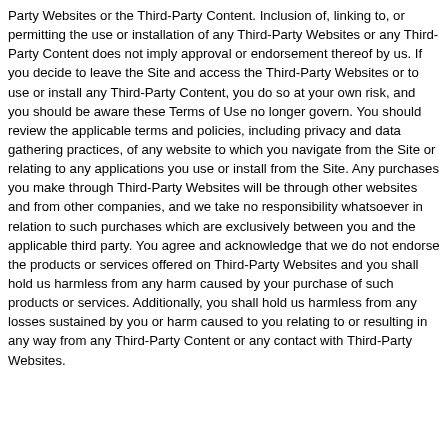Party Websites or the Third-Party Content. Inclusion of, linking to, or permitting the use or installation of any Third-Party Websites or any Third-Party Content does not imply approval or endorsement thereof by us. If you decide to leave the Site and access the Third-Party Websites or to use or install any Third-Party Content, you do so at your own risk, and you should be aware these Terms of Use no longer govern. You should review the applicable terms and policies, including privacy and data gathering practices, of any website to which you navigate from the Site or relating to any applications you use or install from the Site. Any purchases you make through Third-Party Websites will be through other websites and from other companies, and we take no responsibility whatsoever in relation to such purchases which are exclusively between you and the applicable third party. You agree and acknowledge that we do not endorse the products or services offered on Third-Party Websites and you shall hold us harmless from any harm caused by your purchase of such products or services. Additionally, you shall hold us harmless from any losses sustained by you or harm caused to you relating to or resulting in any way from any Third-Party Content or any contact with Third-Party Websites.